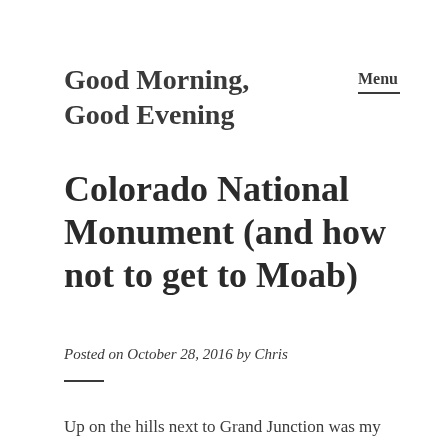Good Morning, Good Evening
Menu
Colorado National Monument (and how not to get to Moab)
Posted on October 28, 2016 by Chris
Up on the hills next to Grand Junction was my